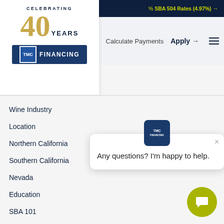SBA 504 Rates (4.97%) →
[Figure (logo): TMC Financing logo with Celebrating 40 Years text and gold numerals]
Calculate Payments
Apply →
Wine Industry
Location
Northern California
Southern California
Nevada
Education
SBA 101
News & Updates
TMC
SBA
Any questions? I'm happy to help.